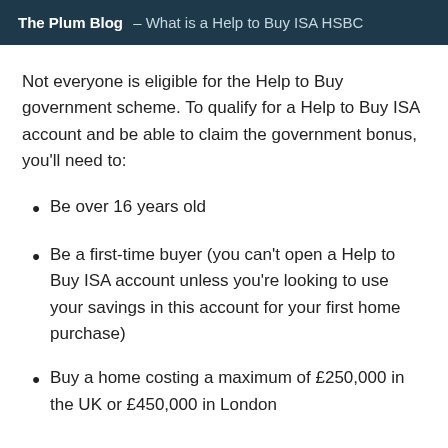The Plum Blog – What is a Help to Buy ISA HSBC
Not everyone is eligible for the Help to Buy government scheme. To qualify for a Help to Buy ISA account and be able to claim the government bonus, you'll need to:
Be over 16 years old
Be a first-time buyer (you can't open a Help to Buy ISA account unless you're looking to use your savings in this account for your first home purchase)
Buy a home costing a maximum of £250,000 in the UK or £450,000 in London